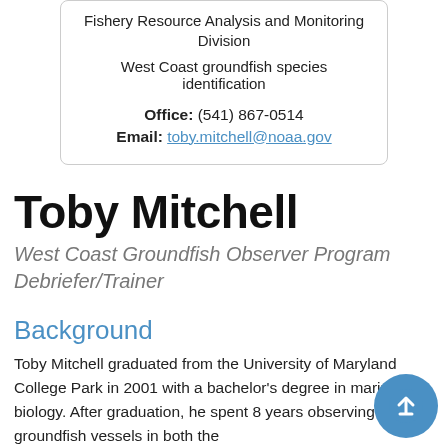Fishery Resource Analysis and Monitoring Division
West Coast groundfish species identification
Office: (541) 867-0514
Email: toby.mitchell@noaa.gov
Toby Mitchell
West Coast Groundfish Observer Program Debriefer/Trainer
Background
Toby Mitchell graduated from the University of Maryland College Park in 2001 with a bachelor's degree in marine biology. After graduation, he spent 8 years observing aboard groundfish vessels in both the